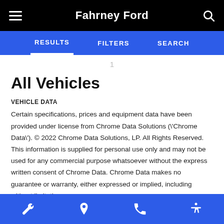Fahrney Ford
RESULTS   FILTERS   SEARCH
1
All Vehicles
VEHICLE DATA
Certain specifications, prices and equipment data have been provided under license from Chrome Data Solutions (\'Chrome Data\'). © 2022 Chrome Data Solutions, LP. All Rights Reserved. This information is supplied for personal use only and may not be used for any commercial purpose whatsoever without the express written consent of Chrome Data. Chrome Data makes no guarantee or warranty, either expressed or implied, including without limitation